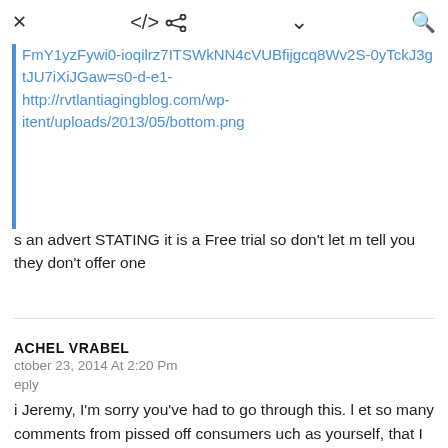x  [share icon]  [chevron icon]  [search icon]
FmY1yzFywi0-ioqilrz7ITSWkNN4cVUBfijgcq8Wv2S-0yTckJ3gtJU7iXiJGaw=s0-d-e1-http://rvtlantiagingblog.com/wp-itent/uploads/2013/05/bottom.png
s an advert STATING it is a Free trial so don’t let m tell you they don’t offer one
ACHEL VRABEL
ctober 23, 2014 At 2:20 Pm
eply
i Jeremy, I’m sorry you’ve had to go through this. l et so many comments from pissed off consumers uch as yourself, that I just wrote an in depth